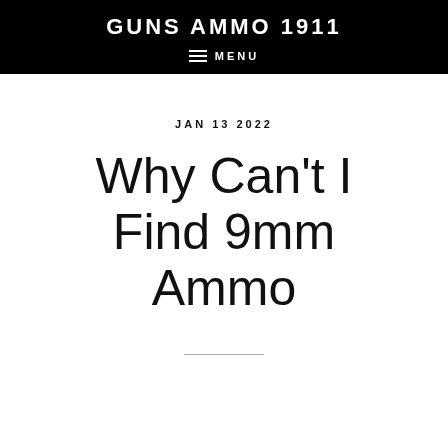GUNS AMMO 1911
≡ MENU
JAN 13 2022
Why Can't I Find 9mm Ammo